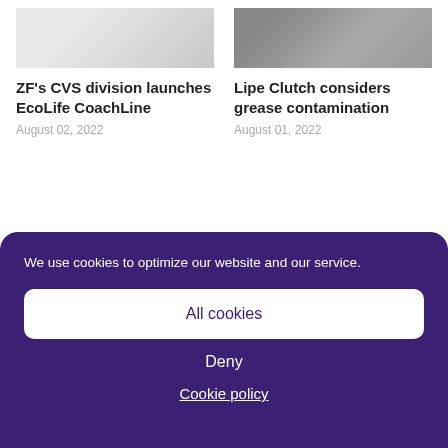[Figure (photo): Partial image top left - light colored fabric or cloth]
ZF’s CVS division launches EcoLife CoachLine
August 02, 2022
[Figure (photo): Partial image top right - mechanical parts, clutch components]
Lipe Clutch considers grease contamination
August 01, 2022
We use cookies to optimize our website and our service.
All cookies
Deny
Cookie policy